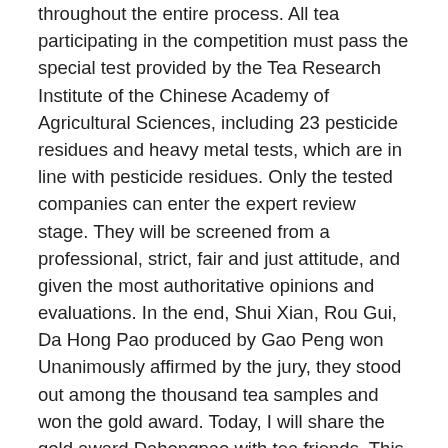throughout the entire process. All tea participating in the competition must pass the special test provided by the Tea Research Institute of the Chinese Academy of Agricultural Sciences, including 23 pesticide residues and heavy metal tests, which are in line with pesticide residues. Only the tested companies can enter the expert review stage. They will be screened from a professional, strict, fair and just attitude, and given the most authoritative opinions and evaluations. In the end, Shui Xian, Rou Gui, Da Hong Pao produced by Gao Peng won Unanimously affirmed by the jury, they stood out among the thousand tea samples and won the gold award. Today, I will share the gold award Dahongpao with tea friends. This Dahongpao Gaopeng uses the traditional charcoal roasting process. It is not easy to turn green. The original activity of the tea is preserved while roasting the tea thoroughly, which can better show the floral and fruity fragrance in it, but at the same time, it does not lose the characteristics of fresh, sweet, lively and rock bone flower. The freshness of the soup is maintained. The golden prize of Dahongpao has a remarkable fruit rhyme. Dry tea: thin strips, tightly wrapped, with a coke aroma and aftertaste after charcoal roasting. The first boiling water is high and the aroma of tea is instant. I was inspired, the tea soup was